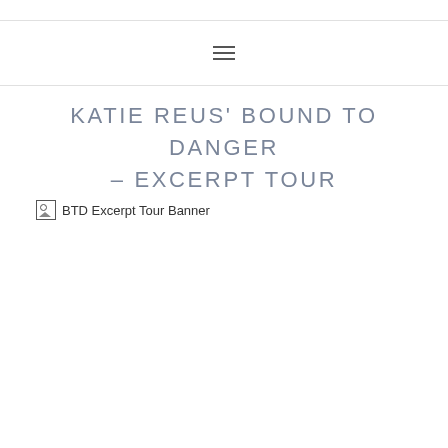≡
KATIE REUS' BOUND TO DANGER – EXCERPT TOUR
[Figure (illustration): Broken image placeholder for BTD Excerpt Tour Banner]